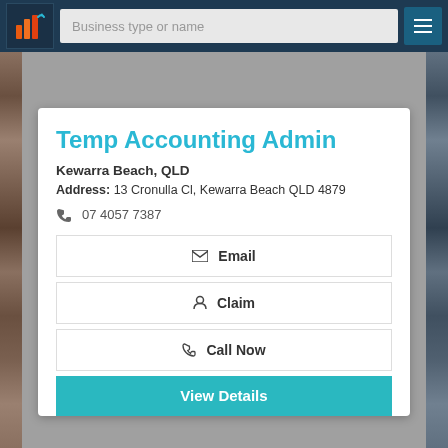Business type or name
Temp Accounting Admin
Kewarra Beach, QLD
Address: 13 Cronulla Cl, Kewarra Beach QLD 4879
07 4057 7387
Email
Claim
Call Now
View Details